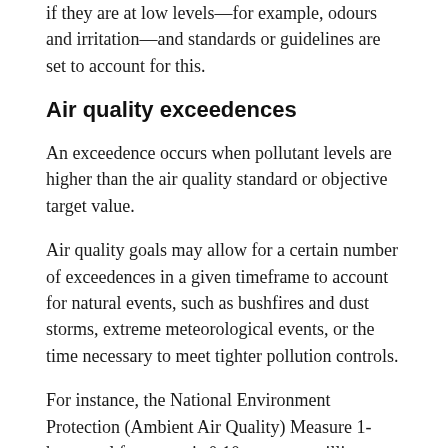Sometimes, we may notice the presence of pollutants even if they are at low levels—for example, odours and irritation—and standards or guidelines are set to account for this.
Air quality exceedences
An exceedence occurs when pollutant levels are higher than the air quality standard or objective target value.
Air quality goals may allow for a certain number of exceedences in a given timeframe to account for natural events, such as bushfires and dust storms, extreme meteorological events, or the time necessary to meet tighter pollution controls.
For instance, the National Environment Protection (Ambient Air Quality) Measure 1-hour goal for ozone is 0.10 parts per million, not to be exceeded more than one day per year.
The graph shows the number of exceedences per year